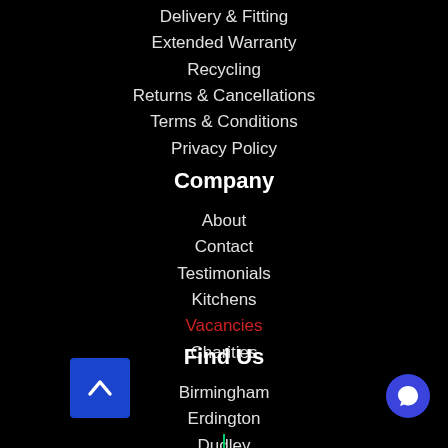Delivery & Fitting
Extended Warranty
Recycling
Returns & Cancellations
Terms & Conditions
Privacy Policy
Company
About
Contact
Testimonials
Kitchens
Vacancies
Charities
Find Us
Birmingham
Erdington
Dudley